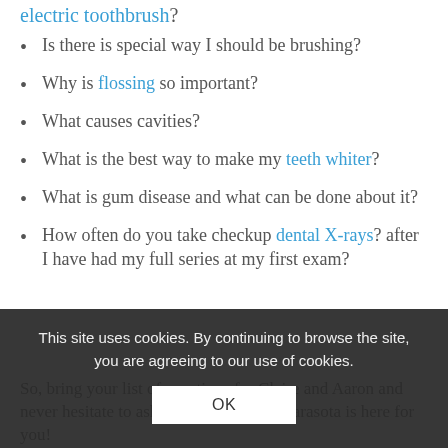electric toothbrush?
Is there is special way I should be brushing?
Why is flossing so important?
What causes cavities?
What is the best way to make my teeth whiter?
What is gum disease and what can be done about it?
How often do you take checkup dental X-rays? after I have had my full series at my first exam?
So, bring your list of questions for Claire and Aaron and never hesitate to ask our Team...Smile Sarasota is here for you!
This site uses cookies. By continuing to browse the site, you are agreeing to our use of cookies.